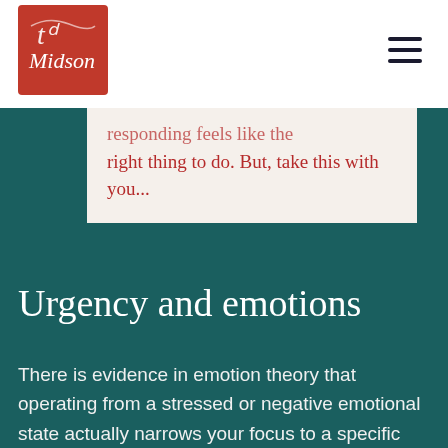[Figure (logo): GD Midson logo — red square with white handwritten initials and 'Midson' text]
...responding feels like the right thing to do. But, take this with you...
Urgency and emotions
There is evidence in emotion theory that operating from a stressed or negative emotional state actually narrows your focus to a specific set of